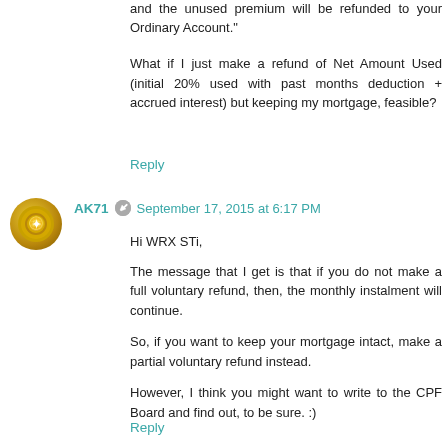and the unused premium will be refunded to your Ordinary Account."
What if I just make a refund of Net Amount Used (initial 20% used with past months deduction + accrued interest) but keeping my mortgage, feasible?
Reply
AK71  September 17, 2015 at 6:17 PM
Hi WRX STi,
The message that I get is that if you do not make a full voluntary refund, then, the monthly instalment will continue.
So, if you want to keep your mortgage intact, make a partial voluntary refund instead.
However, I think you might want to write to the CPF Board and find out, to be sure. :)
Reply